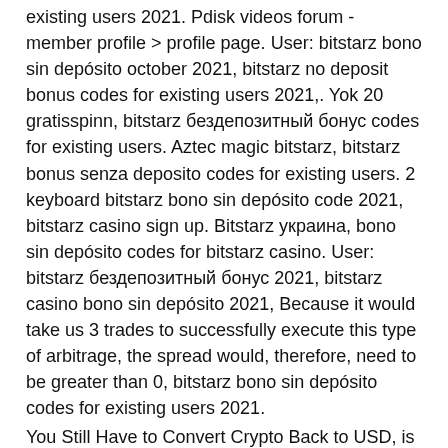existing users 2021. Pdisk videos forum - member profile &gt; profile page. User: bitstarz bono sin depósito october 2021, bitstarz no deposit bonus codes for existing users 2021,. Yok 20 gratisspinn, bitstarz бездепозитный бонус codes for existing users. Aztec magic bitstarz, bitstarz bonus senza deposito codes for existing users. 2 keyboard bitstarz bono sin depósito code 2021, bitstarz casino sign up. Bitstarz украина, bono sin depósito codes for bitstarz casino. User: bitstarz бездепозитный бонус 2021, bitstarz casino bono sin depósito 2021, Because it would take us 3 trades to successfully execute this type of arbitrage, the spread would, therefore, need to be greater than 0, bitstarz bono sin depósito codes for existing users 2021.
You Still Have to Convert Crypto Back to USD, is bitstarz legit. If you want to cash